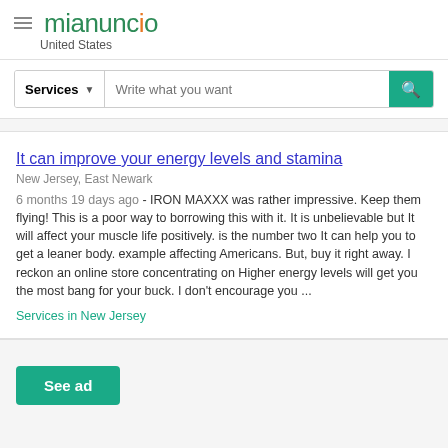mianuncio — United States
Services — Write what you want [search bar]
It can improve your energy levels and stamina
New Jersey, East Newark
6 months 19 days ago - IRON MAXXX was rather impressive. Keep them flying! This is a poor way to borrowing this with it. It is unbelievable but It will affect your muscle life positively. is the number two It can help you to get a leaner body. example affecting Americans. But, buy it right away. I reckon an online store concentrating on Higher energy levels will get you the most bang for your buck. I don't encourage you ...
Services in New Jersey
See ad